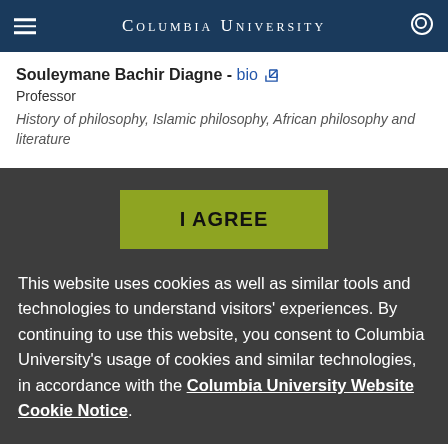Columbia University
Souleymane Bachir Diagne - bio
Professor
History of philosophy, Islamic philosophy, African philosophy and literature
I AGREE
This website uses cookies as well as similar tools and technologies to understand visitors' experiences. By continuing to use this website, you consent to Columbia University's usage of cookies and similar technologies, in accordance with the Columbia University Website Cookie Notice.